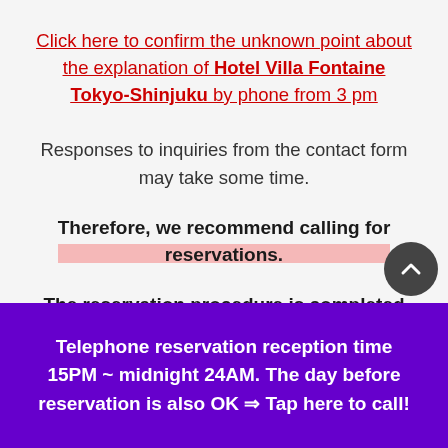Click here to confirm the unknown point about the explanation of Hotel Villa Fontaine Tokyo-Shinjuku by phone from 3 pm
Responses to inquiries from the contact form may take some time.
Therefore, we recommend calling for reservations.
The reservation procedure is completed by phone.
Telephone reservation reception time 15PM ~ midnight 24AM. The day before reservation is also OK ⇒ Tap here to call!